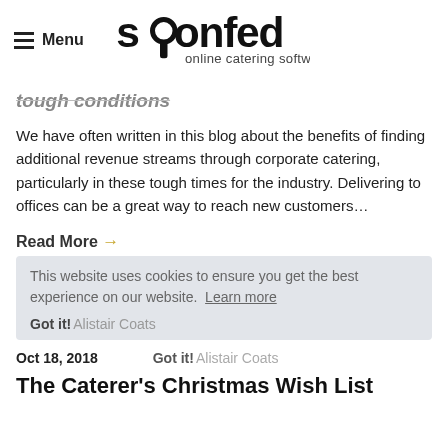Menu | Spoonfed online catering software
tough conditions
We have often written in this blog about the benefits of finding additional revenue streams through corporate catering, particularly in these tough times for the industry. Delivering to offices can be a great way to reach new customers…
Read More →
This website uses cookies to ensure you get the best experience on our website. Learn more
Oct 18, 2018   Got it! Alistair Coats
The Caterer's Christmas Wish List